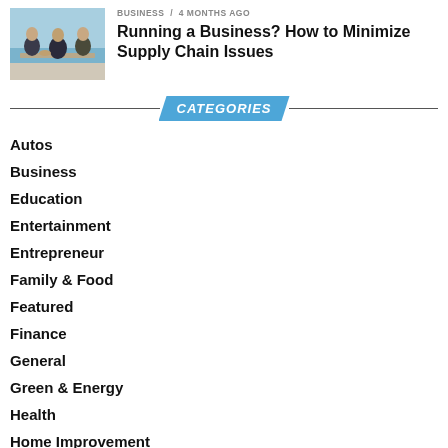[Figure (photo): Business people shaking hands in an office setting]
BUSINESS • 4 months ago
Running a Business? How to Minimize Supply Chain Issues
CATEGORIES
Autos
Business
Education
Entertainment
Entrepreneur
Family & Food
Featured
Finance
General
Green & Energy
Health
Home Improvement
Investments